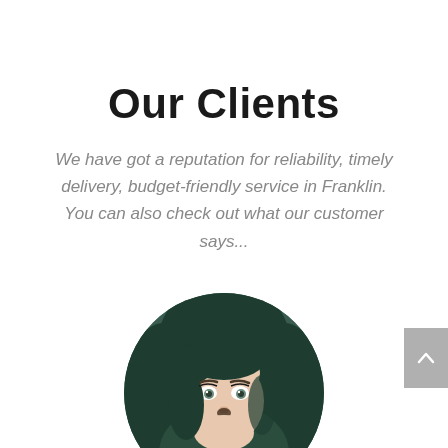Our Clients
We have got a reputation for reliability, timely delivery, budget-friendly service in Franklin. You can also check out what our customer says...
[Figure (photo): Circular portrait photo of a young woman with dark teal/green hair, light eyes, and a small nose accessory, photographed with a selfie-style angle against a blurred background.]